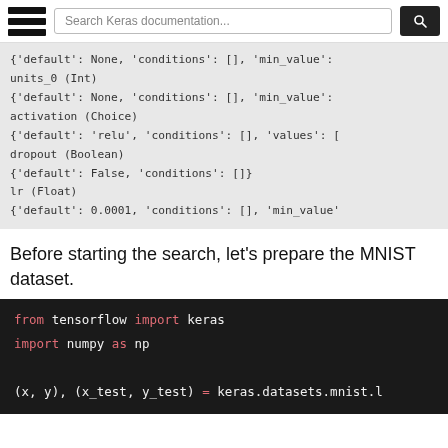Search Keras documentation...
{'default': None, 'conditions': [], 'min_value':
units_0 (Int)
{'default': None, 'conditions': [], 'min_value':
activation (Choice)
{'default': 'relu', 'conditions': [], 'values': [
dropout (Boolean)
{'default': False, 'conditions': []}
lr (Float)
{'default': 0.0001, 'conditions': [], 'min_value'
Before starting the search, let's prepare the MNIST dataset.
from tensorflow import keras
import numpy as np

(x, y), (x_test, y_test) = keras.datasets.mnist.l